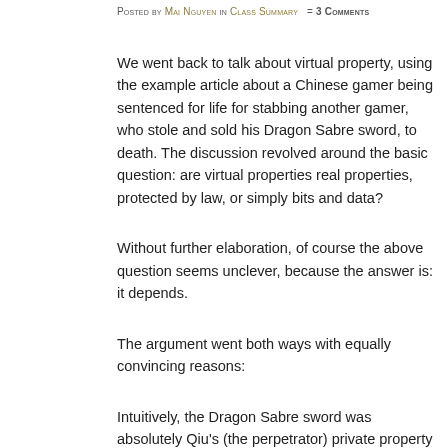Posted by Mai Nguyen in Class Summary = 3 Comments
We went back to talk about virtual property, using the example article about a Chinese gamer being sentenced for life for stabbing another gamer, who stole and sold his Dragon Sabre sword, to death. The discussion revolved around the basic question: are virtual properties real properties, protected by law, or simply bits and data?
Without further elaboration, of course the above question seems unclever, because the answer is: it depends.
The argument went both ways with equally convincing reasons:
Intuitively, the Dragon Sabre sword was absolutely Qiu's (the perpetrator) private property because he